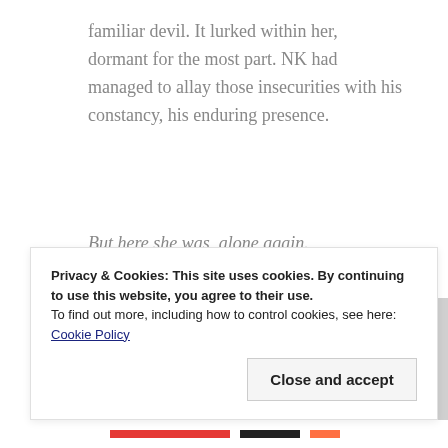familiar devil. It lurked within her, dormant for the most part. NK had managed to allay those insecurities with his constancy, his enduring presence.
But here she was, alone again.
Privacy & Cookies: This site uses cookies. By continuing to use this website, you agree to their use.
To find out more, including how to control cookies, see here: Cookie Policy